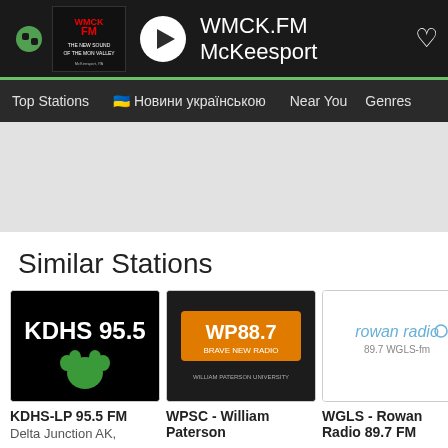WMCK.FM McKeesport
Top Stations   🇺🇦 Новини українською   Near You   Genres
[Figure (screenshot): Grey advertisement banner area]
Similar Stations
[Figure (screenshot): Similar radio station cards: KDHS-LP 95.5 FM (Delta Junction AK), WPSC - William Paterson, WGLS - Rowan Radio 89.7 FM, KKPR FM (partial)]